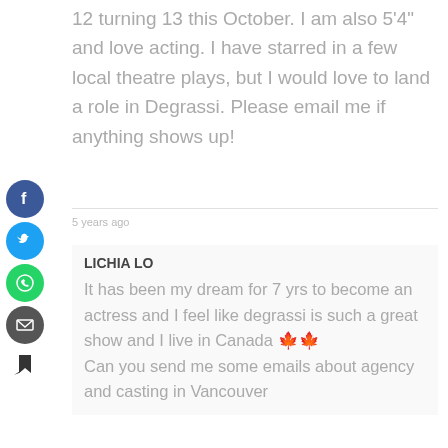12 turning 13 this October. I am also 5'4" and love acting. I have starred in a few local theatre plays, but I would love to land a role in Degrassi. Please email me if anything shows up!
5 years ago
LICHIA LO
It has been my dream for 7 yrs to become an actress and I feel like degrassi is such a great show and I live in Canada 🍁🍁
Can you send me some emails about agency and casting in Vancouver